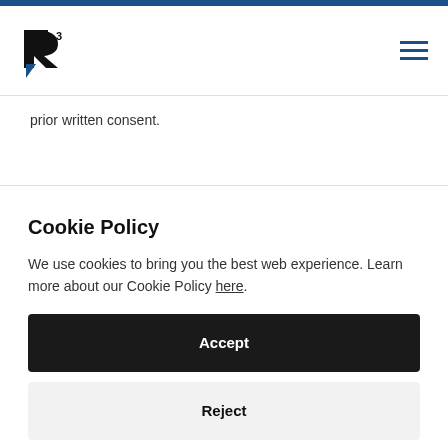[Figure (logo): R3 company logo — stylized letter R with superscript 3, in black]
prior written consent.
Cookie Policy
We use cookies to bring you the best web experience. Learn more about our Cookie Policy here.
Accept
Reject